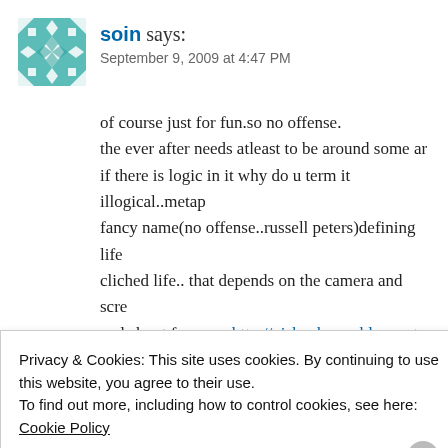[Figure (illustration): Teal and white quilt-pattern avatar icon for user 'soin']
soin says:
September 9, 2009 at 4:47 PM
of course just for fun.so no offense.
the ever after needs atleast to be around some ar
if there is logic in it why do u term it illogical..metap
fancy name(no offense..russell peters)defining life
cliched life.. that depends on the camera and scre
and about free..see http://vishvaksaen.blogspot.c
free.html
free
★ Like
Privacy & Cookies: This site uses cookies. By continuing to use this website, you agree to their use.
To find out more, including how to control cookies, see here: Cookie Policy
Close and accept